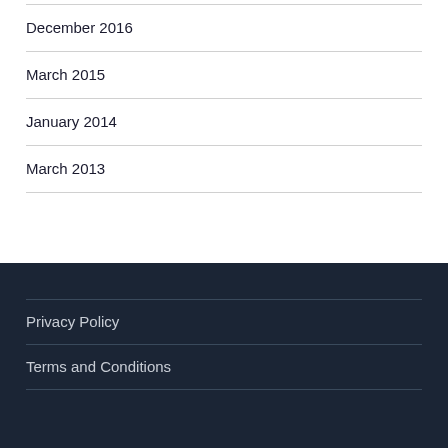December 2016
March 2015
January 2014
March 2013
Privacy Policy
Terms and Conditions